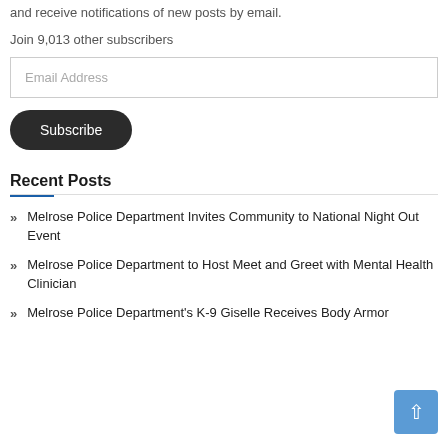and receive notifications of new posts by email.
Join 9,013 other subscribers
Email Address
Subscribe
Recent Posts
Melrose Police Department Invites Community to National Night Out Event
Melrose Police Department to Host Meet and Greet with Mental Health Clinician
Melrose Police Department's K-9 Giselle Receives Body Armor Donation